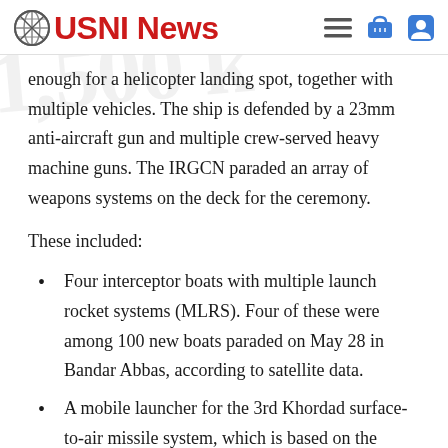USNI News
enough for a helicopter landing spot, together with multiple vehicles. The ship is defended by a 23mm anti-aircraft gun and multiple crew-served heavy machine guns. The IRGCN paraded an array of weapons systems on the deck for the ceremony.
These included:
Four interceptor boats with multiple launch rocket systems (MLRS). Four of these were among 100 new boats paraded on May 28 in Bandar Abbas, according to satellite data.
A mobile launcher for the 3rd Khordad surface-to-air missile system, which is based on the Russian BUK system. This is the same system credited with shooting